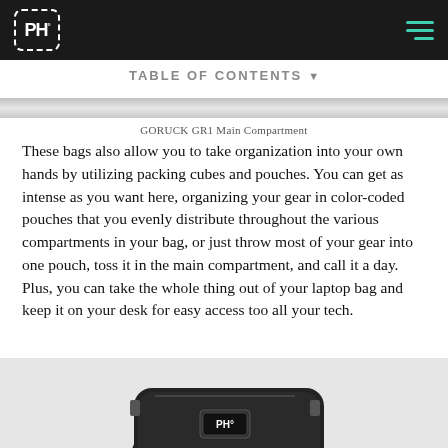PH° [logo] | hamburger menu
TABLE OF CONTENTS
GORUCK GR1 Main Compartment
These bags also allow you to take organization into your own hands by utilizing packing cubes and pouches. You can get as intense as you want here, organizing your gear in color-coded pouches that you evenly distribute throughout the various compartments in your bag, or just throw most of your gear into one pouch, toss it in the main compartment, and call it a day. Plus, you can take the whole thing out of your laptop bag and keep it on your desk for easy access too all your tech.
[Figure (photo): Bottom portion of a black backpack (GORUCK GR1) on a light grey background]